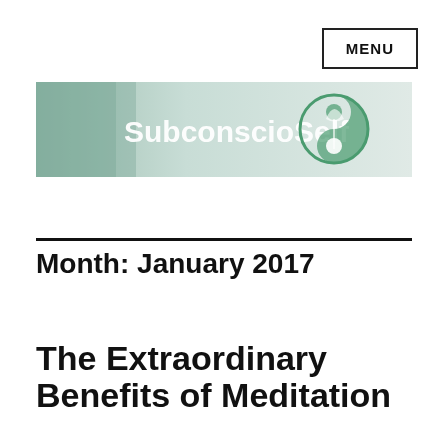MENU
[Figure (logo): SubconsciouSelf website banner with green tones and yin-yang style logo on the right]
Month: January 2017
The Extraordinary Benefits of Meditation